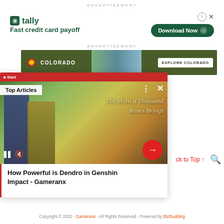ADVERTISEMENT
[Figure (screenshot): Tally app advertisement banner: logo, 'Fast credit card payoff', Download Now button]
ADVERTISEMENT
[Figure (screenshot): Colorado tourism advertisement banner with EXPLORE COLORADO button]
[Figure (screenshot): Video popup card: 'Top Articles', Genshin Impact game art, 'The Morn a Thousand Roses Brings', video controls, red arrow button]
How Powerful is Dendro in Genshin Impact - Gameranx
ck to Top ↑
[Figure (screenshot): Social media icons: YouTube, Facebook, Twitter]
Copyright © 2022 · Gameranx · All Rights Reserved · Powered by BizBudding